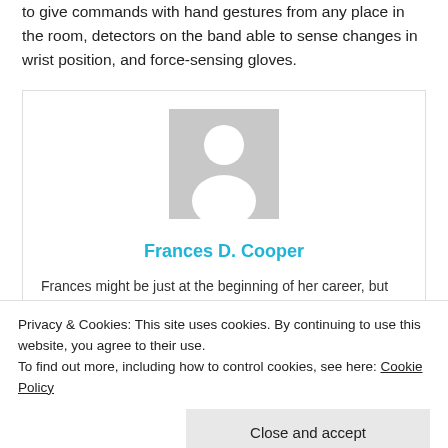to give commands with hand gestures from any place in the room, detectors on the band able to sense changes in wrist position, and force-sensing gloves.
[Figure (illustration): Author profile card for Frances D. Cooper. Contains a grey placeholder avatar silhouette (head and shoulders), the name 'Frances D. Cooper' in cyan/blue bold text, and a partial biography text below.]
Frances might be just at the beginning of her career, but
Share this:
Privacy & Cookies: This site uses cookies. By continuing to use this website, you agree to their use.
To find out more, including how to control cookies, see here: Cookie Policy
Close and accept